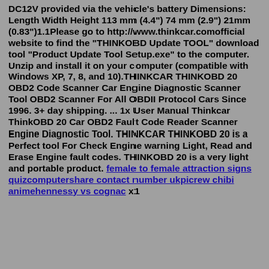DC12V provided via the vehicle's battery Dimensions: Length Width Height 113 mm (4.4") 74 mm (2.9") 21mm (0.83")1.1Please go to http://www.thinkcar.comofficial website to find the "THINKOBD Update TOOL" download tool "Product Update Tool Setup.exe" to the computer. Unzip and install it on your computer (compatible with Windows XP, 7, 8, and 10).THINKCAR THINKOBD 20 OBD2 Code Scanner Car Engine Diagnostic Scanner Tool OBD2 Scanner For All OBDII Protocol Cars Since 1996. 3+ day shipping. ... 1x User Manual Thinkcar ThinkOBD 20 Car OBD2 Fault Code Reader Scanner Engine Diagnostic Tool. THINKCAR THINKOBD 20 is a Perfect tool For Check Engine warning Light, Read and Erase Engine fault codes. THINKOBD 20 is a very light and portable product. female to female attraction signs quizcomputershare contact number ukpicrew chibi animehennessy vs cognac x1